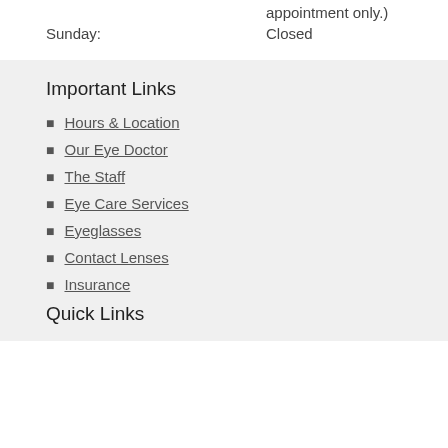appointment only.)
Sunday:    Closed
Important Links
Hours & Location
Our Eye Doctor
The Staff
Eye Care Services
Eyeglasses
Contact Lenses
Insurance
Quick Links